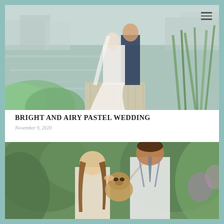[Figure (photo): Wedding couple standing on a dock by a lake, bride in white gown and groom in navy suit, lush greenery in the foreground]
BRIGHT AND AIRY PASTEL WEDDING
November 9, 2020
[Figure (photo): Couple kissing a small pug dog outdoors with green foliage background, bride with long brown hair, groom in white shirt with suspenders and tie]